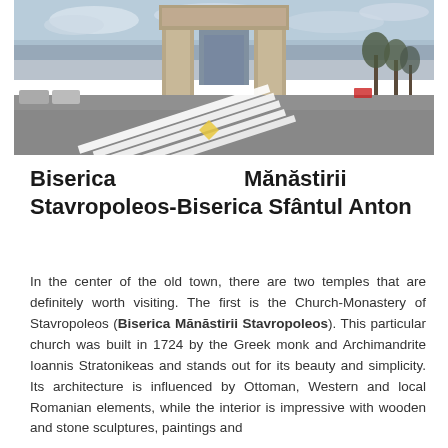[Figure (photo): Photograph of a large triumphal arch-style monument in a city square, with a wide empty road in the foreground marked with pedestrian crosswalk stripes. Bare trees visible on the right side, overcast sky.]
Biserica Mănăstirii Stavropoleos-Biserica Sfântul Anton
In the center of the old town, there are two temples that are definitely worth visiting. The first is the Church-Monastery of Stavropoleos (Biserica Mănăstirii Stavropoleos). This particular church was built in 1724 by the Greek monk and Archimandrite Ioannis Stratonikeas and stands out for its beauty and simplicity. Its architecture is influenced by Ottoman, Western and local Romanian elements, while the interior is impressive with wooden and stone sculptures, paintings and